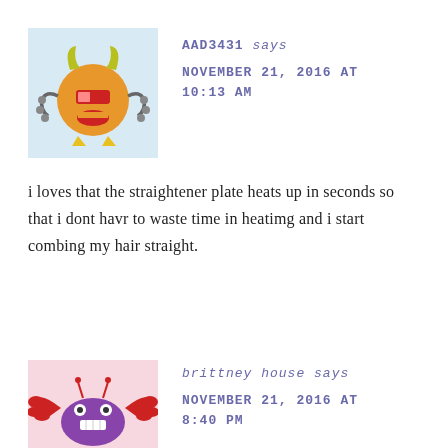[Figure (illustration): Cartoon avatar of a round orange monster with horns, robot-like arms, red lips, and yellow feet on a light blue background]
AAD3431 says
NOVEMBER 21, 2016 AT 10:13 AM
i loves that the straightener plate heats up in seconds so that i dont havr to waste time in heatimg and i start combing my hair straight.
[Figure (illustration): Cartoon avatar of a purple crab with red claws on a pink background]
brittney house says
NOVEMBER 21, 2016 AT 8:40 PM